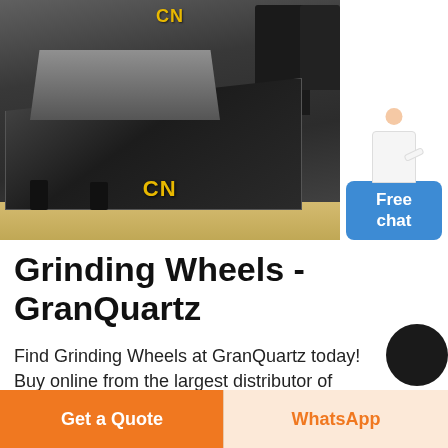[Figure (photo): Industrial grinding/screening machine (heavy black metal vibratory feeder or screen) photographed in a factory setting with yellow floor markings. 'CN' logo appears in yellow text at top and bottom of the image.]
Grinding Wheels - GranQuartz
Find Grinding Wheels at GranQuartz today! Buy online from the largest distributor of
Get a Quote
WhatsApp